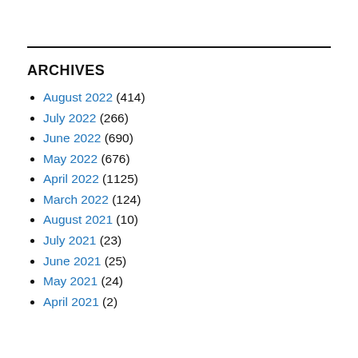ARCHIVES
August 2022 (414)
July 2022 (266)
June 2022 (690)
May 2022 (676)
April 2022 (1125)
March 2022 (124)
August 2021 (10)
July 2021 (23)
June 2021 (25)
May 2021 (24)
April 2021 (2)